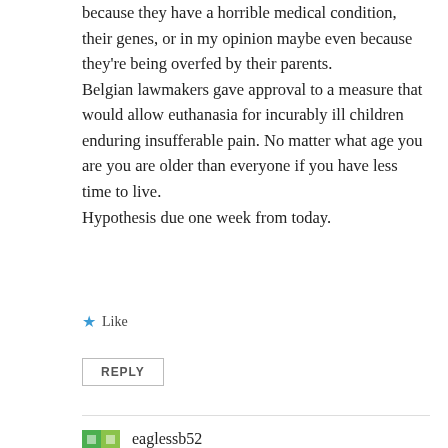because they have a horrible medical condition, their genes, or in my opinion maybe even because they're being overfed by their parents. Belgian lawmakers gave approval to a measure that would allow euthanasia for incurably ill children enduring insufferable pain. No matter what age you are you are older than everyone if you have less time to live. Hypothesis due one week from today.
Like
REPLY
eaglessb52
September 13, 2018 at 9:40 am
You would just turn over cards A and D.